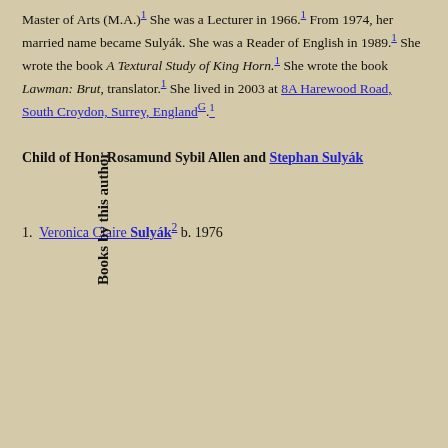Master of Arts (M.A.)¹ She was a Lecturer in 1966.¹ From 1974, her married name became Sulyák. She was a Reader of English in 1989.¹ She wrote the book A Textural Study of King Horn.¹ She wrote the book Lawman: Brut, translator.¹ She lived in 2003 at 8A Harewood Road, South Croydon, Surrey, England^G .¹
Child of Hon. Rosamund Sybil Allen and Stephan Sulyák
1. Veronica Claire Sulyák² b. 1976
Books by this author